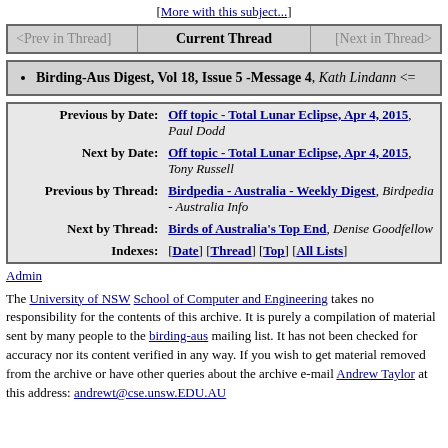[More with this subject...]
| <Prev in Thread] | Current Thread | [Next in Thread> |
| --- | --- | --- |
Birding-Aus Digest, Vol 18, Issue 5 -Message 4, Kath Lindann <=
| Label | Value |
| --- | --- |
| Previous by Date: | Off topic - Total Lunar Eclipse, Apr 4, 2015, Paul Dodd |
| Next by Date: | Off topic - Total Lunar Eclipse, Apr 4, 2015, Tony Russell |
| Previous by Thread: | Birdpedia - Australia - Weekly Digest, Birdpedia - Australia Info |
| Next by Thread: | Birds of Australia's Top End, Denise Goodfellow |
| Indexes: | [Date] [Thread] [Top] [All Lists] |
Admin
The University of NSW School of Computer and Engineering takes no responsibility for the contents of this archive. It is purely a compilation of material sent by many people to the birding-aus mailing list. It has not been checked for accuracy nor its content verified in any way. If you wish to get material removed from the archive or have other queries about the archive e-mail Andrew Taylor at this address: andrewt@cse.unsw.EDU.AU